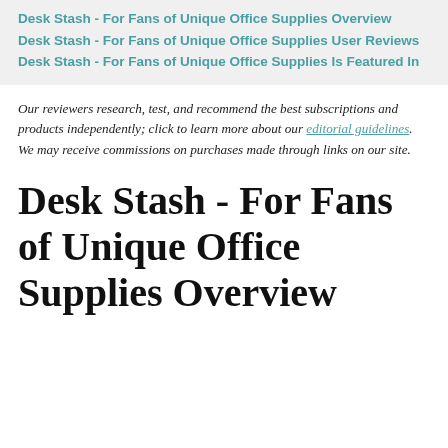Desk Stash - For Fans of Unique Office Supplies Overview
Desk Stash - For Fans of Unique Office Supplies User Reviews
Desk Stash - For Fans of Unique Office Supplies Is Featured In
Our reviewers research, test, and recommend the best subscriptions and products independently; click to learn more about our editorial guidelines. We may receive commissions on purchases made through links on our site.
Desk Stash - For Fans of Unique Office Supplies Overview